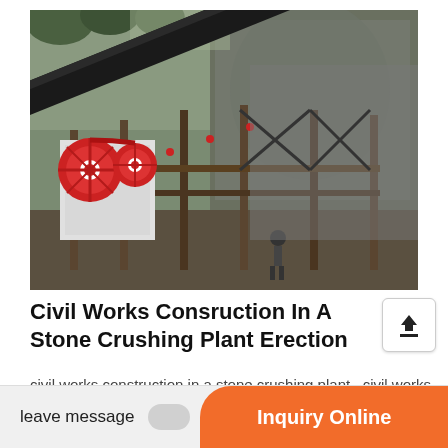[Figure (photo): Photo of a stone crushing plant construction site showing crusher machinery with red flywheel, conveyor belt structure, and rocky hillside backdrop with a worker visible]
Civil Works Consruction In A Stone Crushing Plant Erection
civil works construction in a stone crushing plant . civil works construction in a sto... contractor, including the lo...
leave message
Inquiry Online